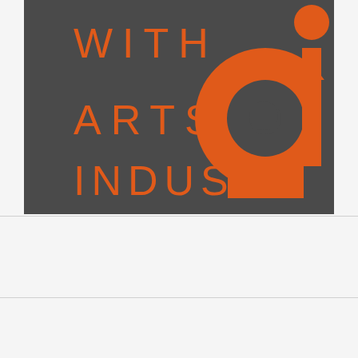[Figure (logo): Arts Industry logo on dark gray background. Orange text reads 'WITH ARTS INDUSTRY' arranged in three lines on the left side. On the right side is a large orange stylized 'ai' letter mark with a circular dotted eye detail.]